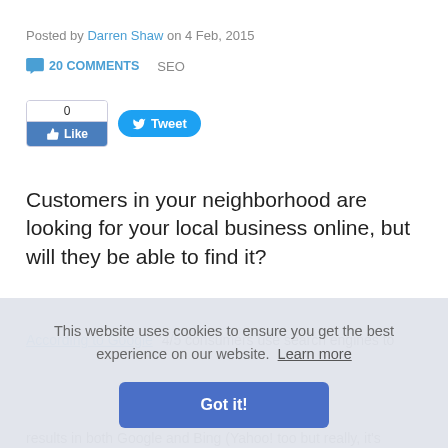Posted by Darren Shaw on 4 Feb, 2015
20 COMMENTS   SEO
[Figure (other): Facebook Like button showing count 0 and Like label, and Twitter Tweet button]
Customers in your neighborhood are looking for your local business online, but will they be able to find it?
According to Google "4/5 consumers use search engines to..."
This website uses cookies to ensure you get the best experience on our website. Learn more
Got it!
results in both Google and Bing (Yahoo! too but really, it's